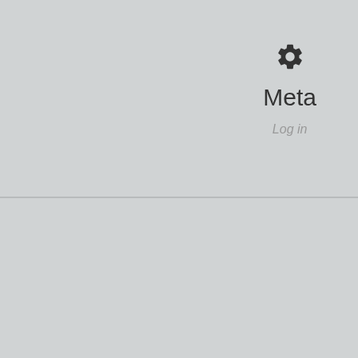[Figure (screenshot): Gear/settings icon]
Meta
Log in
Social Connections
[Figure (logo): Facebook logo icon - white f on blue background]
[Figure (logo): Twitter bird logo icon - white bird on light blue background]